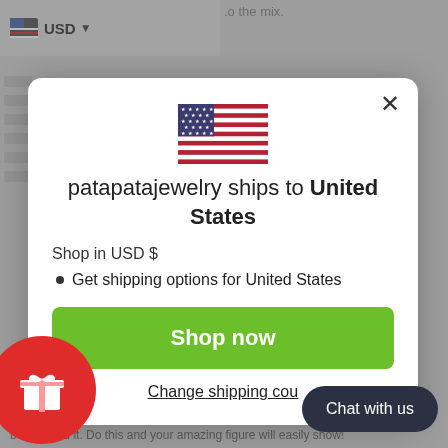to the mix.
[Figure (screenshot): USD currency selector dropdown in top bar]
[Figure (screenshot): Modal dialog showing US flag, 'patapatajewelry ships to United States', shop in USD, get shipping options, Shop now button, Change shipping country link]
Shop in USD $
Get shipping options for United States
Shop now
Change shipping cou…
Chat with us
belt around it. Do this and your amazing figure will easily show!